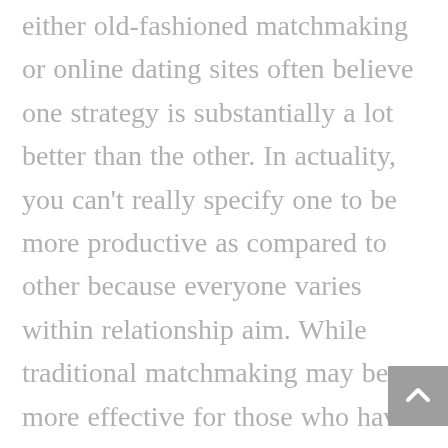either old-fashioned matchmaking or online dating sites often believe one strategy is substantially a lot better than the other. In actuality, you can't really specify one to be more productive as compared to other because everyone varies within relationship aim. While traditional matchmaking may be more effective for those who have considerable social media sites and relish the aspect of are constantly social, internet includes many kinds of websites for everybody. Commonly, ideal results originate from a mix of both. Even though many visitors may link through the internet discover